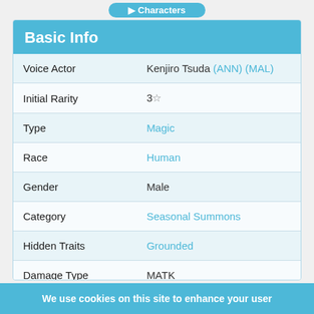| Field | Value |
| --- | --- |
| Voice Actor | Kenjiro Tsuda (ANN) (MAL) |
| Initial Rarity | 3☆ |
| Type | Magic |
| Race | Human |
| Gender | Male |
| Category | Seasonal Summons |
| Hidden Traits | Grounded |
| Damage Type | MATK |
| Skill Element | Other |
| Field | Gravity Field |
We use cookies on this site to enhance your user